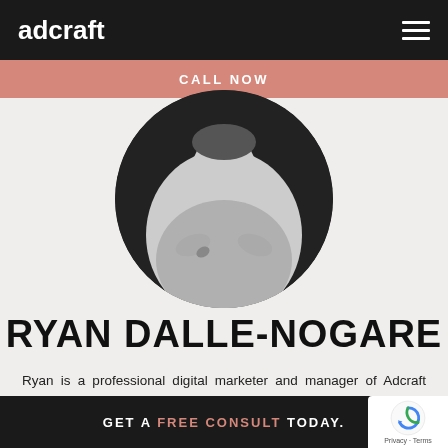adcraft
CALL NOW
[Figure (photo): Circular cropped black and white portrait photo of Ryan Dalle-Nogare, a man in a light shirt with arms crossed]
RYAN DALLE-NOGARE
Ryan is a professional digital marketer and manager of Adcraft Studio in Wollongong. He works one on one with our clients to diagnose clients' needs and set their marketing performance
GET A FREE CONSULT TODAY.